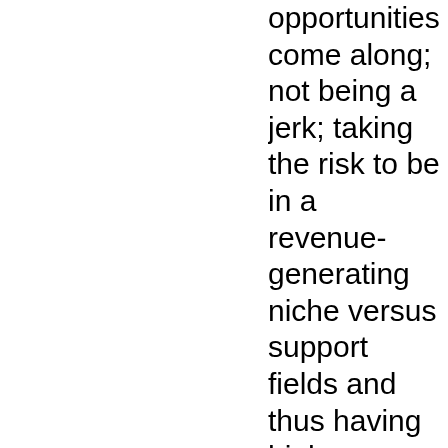opportunities come along; not being a jerk; taking the risk to be in a revenue-generating niche versus support fields and thus having higher compensation; not sticking around too long – I think 3-5 years in any one position is about right for my field. Less than that too many times and I look like a job hopper. Longer than that and I either start to look like a lifer and I notice I start to sound negative and entitled – that never ends well; only associating with quality brands, both for leading organizations and with quality teams within them; living in large cities with lots of opportunities; only